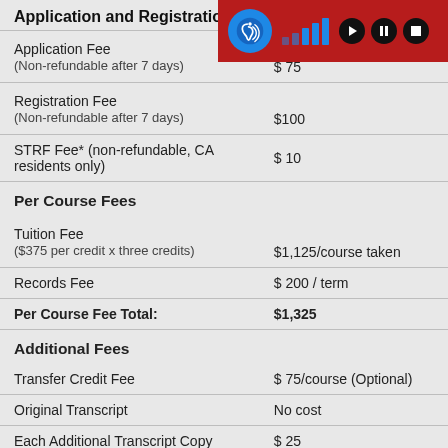Application and Registration Fees
| Fee Type | Amount |
| --- | --- |
| Application Fee
(Non-refundable after 7 days) | $ 75 |
| Registration Fee
(Non-refundable after 7 days) | $100 |
| STRF Fee* (non-refundable, CA residents only) | $ 10 |
| Per Course Fees |  |
| Tuition Fee
($375 per credit x three credits) | $1,125/course taken |
| Records Fee | $ 200 / term |
| Per Course Fee Total: | $1,325 |
| Additional Fees |  |
| Transfer Credit Fee | $ 75/course (Optional) |
| Original Transcript | No cost |
| Each Additional Transcript Copy | $ 25 |
| End of Program Fees |  |
| Replacement Certificate | $ 100 (Optional) |